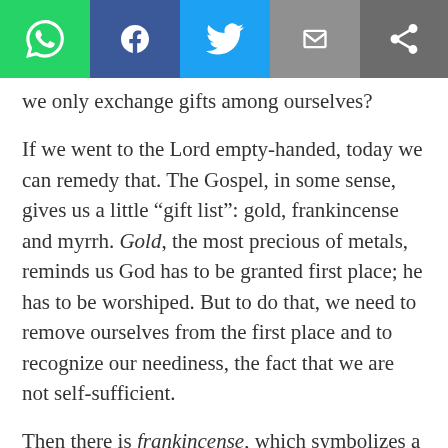[Figure (other): Social media sharing toolbar with WhatsApp, Facebook, Twitter, Email, and generic share buttons]
we only exchange gifts among ourselves?
If we went to the Lord empty-handed, today we can remedy that. The Gospel, in some sense, gives us a little “gift list”: gold, frankincense and myrrh. Gold, the most precious of metals, reminds us God has to be granted first place; he has to be worshiped. But to do that, we need to remove ourselves from the first place and to recognize our neediness, the fact that we are not self-sufficient.
Then there is frankincense, which symbolizes a relationship with the Lord, prayer, which like incense rises up to God (cf. Ps 141:2). Just as incense must burn in order to yield its fragrance, so too, in prayer, we need to “burn” a little of our time, to spend it with the Lord. Not just in